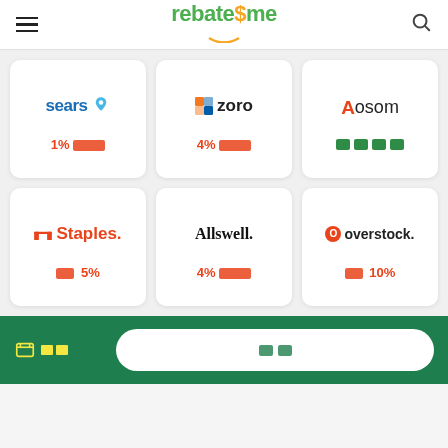rebate$me navigation header
[Figure (logo): Sears logo with house icon — 1% rebate card]
[Figure (logo): Zoro logo — 4% rebate card]
[Figure (logo): Aosom logo — redacted rebate card]
[Figure (logo): Staples logo — up to 5% rebate card]
[Figure (logo): Allswell logo — 4% rebate card]
[Figure (logo): Overstock logo — up to 10% rebate card]
Footer with redacted label and redacted button on green background